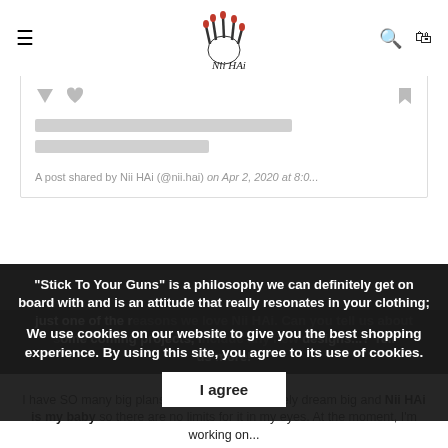≡ [Logo: Nii HAi] 🔍 🛍
[Figure (screenshot): Instagram embed block with downvote/heart icons, two gray placeholder bars, and caption text: A post shared by Nii HAi (@nii.hai) on Apr 2, 2020 at 8:0...]
"Stick To Your Guns" is a philosophy we can definitely get on board with and is an attitude that really resonates in your clothing; just one of the reasons we love Nii HAi. Can you tell us about some coming projects, including any new designs...? Tell us more!
We use cookies on our website to give you the best shopping experience. By using this site, you agree to its use of cookies.
I agree
I have SO many big plans for Nii HAi – I definitely dream big and Nii HAi is my baby so there are no limits for it in my eyes. At the moment, I'm working on...